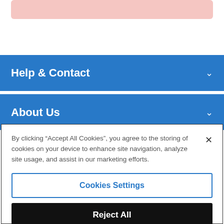[Figure (screenshot): Pink/salmon rounded rectangle bar at top of page]
Help & Contact
About Us
By clicking “Accept All Cookies”, you agree to the storing of cookies on your device to enhance site navigation, analyze site usage, and assist in our marketing efforts.
Cookies Settings
Reject All
Accept All Cookies